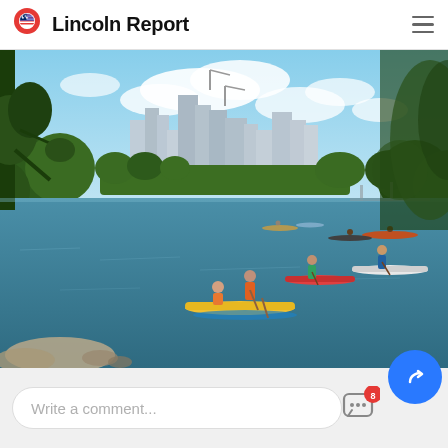Lincoln Report
[Figure (photo): People paddleboarding and kayaking on a river with a city skyline and trees in the background under a partly cloudy sky.]
Write a comment...